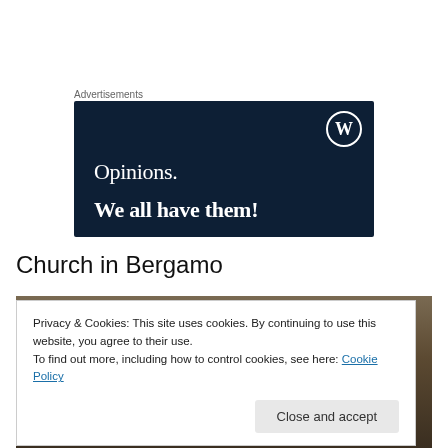Advertisements
[Figure (illustration): WordPress advertisement banner with dark navy background. Shows WordPress logo (circle W) in top right, text 'Opinions.' in serif font and 'We all have them!' in bold serif font below.]
Church in Bergamo
[Figure (photo): Partial photo of a church in Bergamo, partially obscured by cookie consent banner.]
Privacy & Cookies: This site uses cookies. By continuing to use this website, you agree to their use.
To find out more, including how to control cookies, see here: Cookie Policy
Close and accept